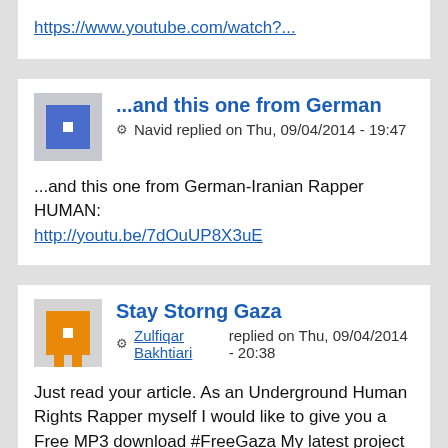https://www.youtube.com/watch?...
...and this one from German
Navid replied on Thu, 09/04/2014 - 19:47
...and this one from German-Iranian Rapper HUMAN:
http://youtu.be/7dOuUP8X3uE
Stay Storng Gaza
Zulfiqar Bakhtiari replied on Thu, 09/04/2014 - 20:38
Just read your article. As an Underground Human Rights Rapper myself I would like to give you a Free MP3 download #FreeGaza My latest project for Gaza Prod by Ayoub "Eraytoon" Kaddoura Recorded by Cracka Jack Lyrics